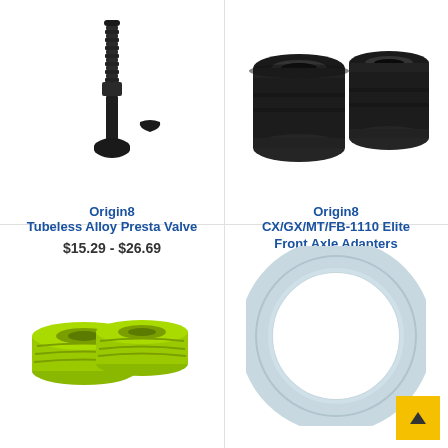[Figure (photo): Origin8 Tubeless Alloy Presta Valve - black metal valve stem with small black cap accessory]
Origin8
Tubeless Alloy Presta Valve
$15.29 - $26.69
[Figure (photo): Origin8 CX/GX/MT/FB-1110 Elite Front Axle Adapters - two black cylindrical axle adapter pieces]
Origin8
CX/GX/MT/FB-1110 Elite Front Axle Adapters
$19.99
[Figure (photo): Yellow/green handlebar tape rolls - two rolls of lime green bicycle handlebar tape]
[Figure (photo): Light blue bicycle tire - a light gray/blue colored bicycle tire/tube ring]
[Figure (other): Scroll-to-top button - yellow square with upward triangle arrow]